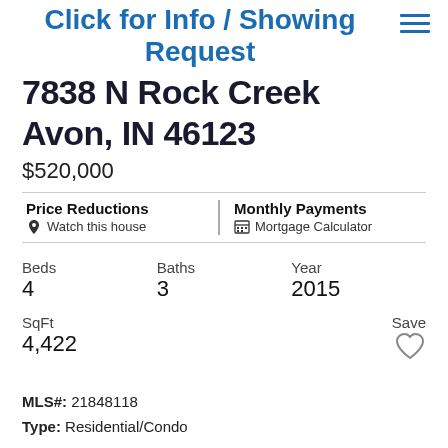Click for Info / Showing Request
7838 N Rock Creek
Avon, IN 46123
$520,000
Price Reductions | Watch this house
Monthly Payments | Mortgage Calculator
Beds 4   Baths 3   Year 2015   SqFt 4,422   Save
MLS#: 21848118
Type: Residential/Condo